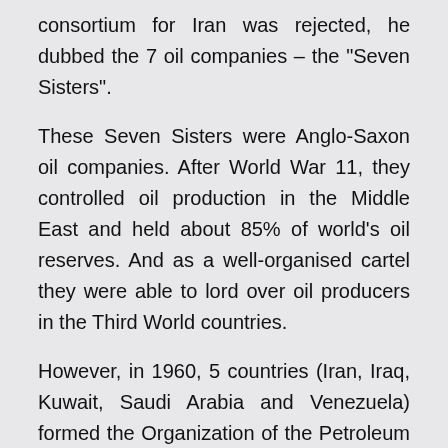consortium for Iran was rejected, he dubbed the 7 oil companies – the "Seven Sisters".
These Seven Sisters were Anglo-Saxon oil companies. After World War 11, they controlled oil production in the Middle East and held about 85% of world's oil reserves. And as a well-organised cartel they were able to lord over oil producers in the Third World countries.
However, in 1960, 5 countries (Iran, Iraq, Kuwait, Saudi Arabia and Venezuela) formed the Organization of the Petroleum Exporting Countries (OPEC). Apart from securing fair and